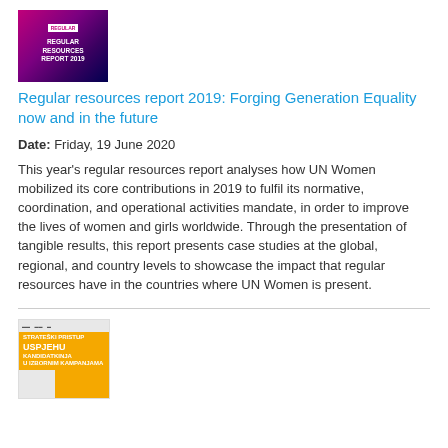[Figure (photo): Cover image of Regular Resources Report 2019 with purple/pink gradient background and white text]
Regular resources report 2019: Forging Generation Equality now and in the future
Date: Friday, 19 June 2020
This year's regular resources report analyses how UN Women mobilized its core contributions in 2019 to fulfil its normative, coordination, and operational activities mandate, in order to improve the lives of women and girls worldwide. Through the presentation of tangible results, this report presents case studies at the global, regional, and country levels to showcase the impact that regular resources have in the countries where UN Women is present.
[Figure (photo): Cover image of a publication about strategic approach to women candidates success in elections, orange/yellow background with illustrated figures]
Strategic approach to women candidates' success in election